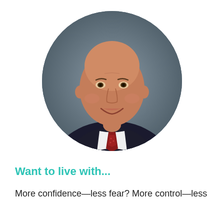[Figure (photo): Circular cropped headshot of a middle-aged bald man smiling, wearing a dark suit jacket, white dress shirt, and a red patterned tie. Dark grey blurred background.]
Want to live with...
More confidence—less fear? More control—less